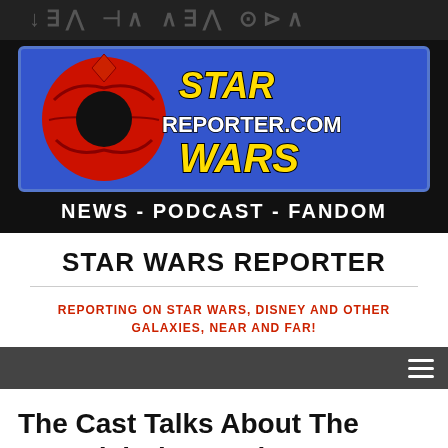[Figure (logo): Star Wars Reporter logo with red Rebel Alliance symbol, blue banner with yellow STAR and WARS text and white REPORTER.COM text, on black background]
NEWS - PODCAST - FANDOM
STAR WARS REPORTER
REPORTING ON STAR WARS, DISNEY AND OTHER GALAXIES, NEAR AND FAR!
The Cast Talks About The Manadalorian on the Next Disney Gallery